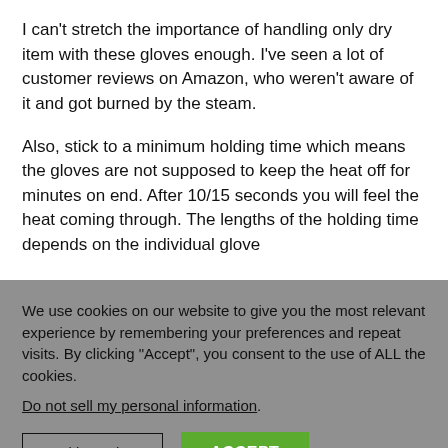I can't stretch the importance of handling only dry item with these gloves enough. I've seen a lot of customer reviews on Amazon, who weren't aware of it and got burned by the steam.
Also, stick to a minimum holding time which means the gloves are not supposed to keep the heat off for minutes on end. After 10/15 seconds you will feel the heat coming through. The lengths of the holding time  depends on the individual glove
We use cookies on our website to give you the most relevant experience by remembering your preferences and repeat visits. By clicking "Accept", you consent to the use of ALL the cookies.
Do not sell my personal information.
Cookie settings
ACCEPT